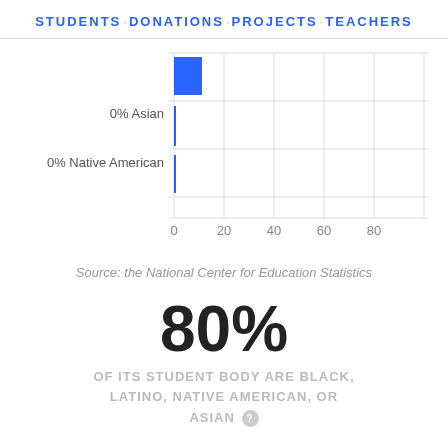STUDENTS · DONATIONS · PROJECTS · TEACHERS
[Figure (bar-chart): ]
Source: the National Center for Education Statistics
80%
OF ITS STUDENT BODY ARE BLACK, LATINO, NATIVE AMERICAN, OR ASIAN